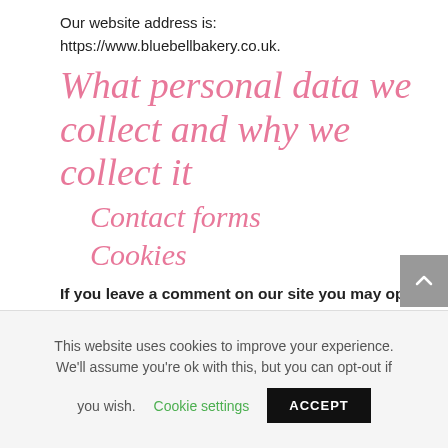Our website address is:
https://www.bluebellbakery.co.uk.
What personal data we collect and why we collect it
Contact forms
Cookies
If you leave a comment on our site you may opt-in to saving your name, email address
This website uses cookies to improve your experience. We'll assume you're ok with this, but you can opt-out if you wish. Cookie settings ACCEPT